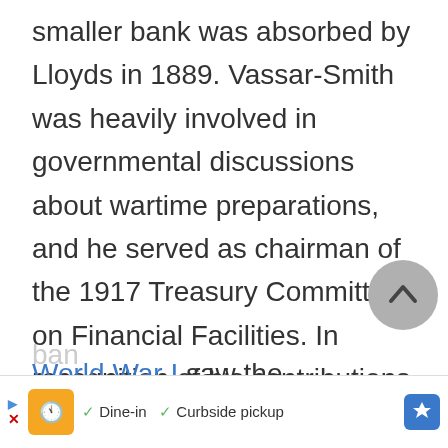smaller bank was absorbed by Lloyds in 1889. Vassar-Smith was heavily involved in governmental discussions about wartime preparations, and he served as chairman of the 1917 Treasury Committee on Financial Facilities. In recognition of his contributions to the war effort, he was made a baronet in 1917.
World War I saw the formation of the Big Five, a group of large clearing ban...